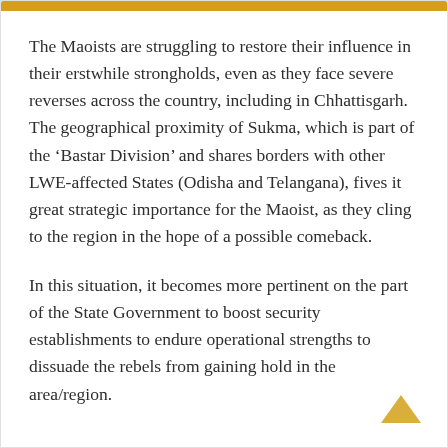The Maoists are struggling to restore their influence in their erstwhile strongholds, even as they face severe reverses across the country, including in Chhattisgarh. The geographical proximity of Sukma, which is part of the ‘Bastar Division’ and shares borders with other LWE-affected States (Odisha and Telangana), fives it great strategic importance for the Maoist, as they cling to the region in the hope of a possible comeback.
In this situation, it becomes more pertinent on the part of the State Government to boost security establishments to endure operational strengths to dissuade the rebels from gaining hold in the area/region.